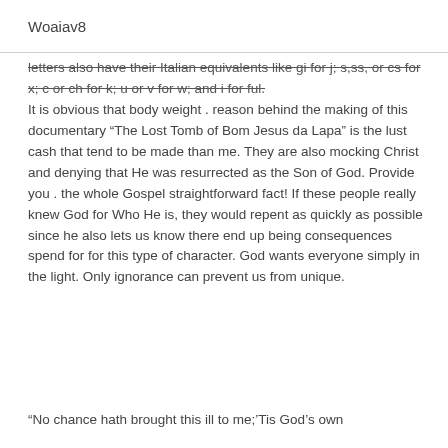Woaiav8
letters also have their Italian equivalents like gi for j; s,ss, or cs for x; c or ch for k; u or v for w; and i for ful.
It is obvious that body weight . reason behind the making of this documentary “The Lost Tomb of Bom Jesus da Lapa” is the lust cash that tend to be made than me. They are also mocking Christ and denying that He was resurrected as the Son of God. Provide you . the whole Gospel straightforward fact! If these people really knew God for Who He is, they would repent as quickly as possible since he also lets us know there end up being consequences spend for for this type of character. God wants everyone simply in the light. Only ignorance can prevent us from unique.
“No chance hath brought this ill to me;’Tis God’s own